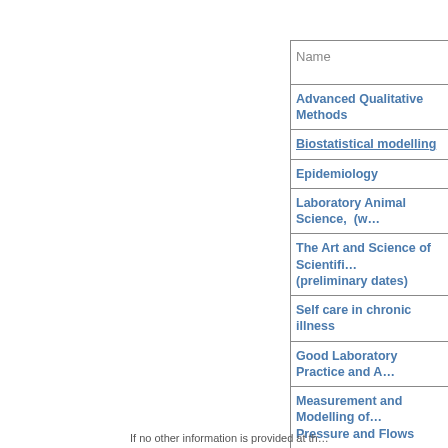| Name |
| --- |
| Advanced Qualitative Methods |
| Biostatistical modelling |
| Epidemiology |
| Laboratory Animal Science,  (w… |
| The Art and Science of Scientifi… (preliminary dates) |
| Self care in chronic illness |
| Good Laboratory Practice and A… |
| Measurement and Modelling of… Pressure and Flows |
| Pain and Pain Management |
| Infection Biology - Clinical Pers… |
| Neurobiology |
| Cardiovascular Biology |
If no other information is provided at th…